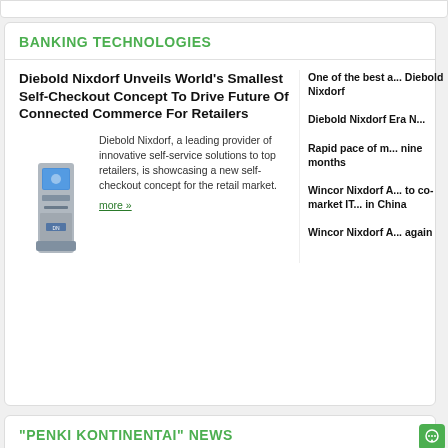BANKING TECHNOLOGIES
Diebold Nixdorf Unveils World's Smallest Self-Checkout Concept To Drive Future Of Connected Commerce For Retailers
[Figure (illustration): Small self-checkout kiosk machine illustration]
Diebold Nixdorf, a leading provider of innovative self-service solutions to top retailers, is showcasing a new self-checkout concept for the retail market.
more »
One of the best a... Diebold Nixdorf
Diebold Nixdorf Era N...
Rapid pace of m... nine months
Wincor Nixdorf A... to co-market IT... in China
Wincor Nixdorf A... again
“PENKI KONTINENTAI” NEWS
International Bank of Azerbaijan chose Vynamic
BS/2 Georgia became data operator